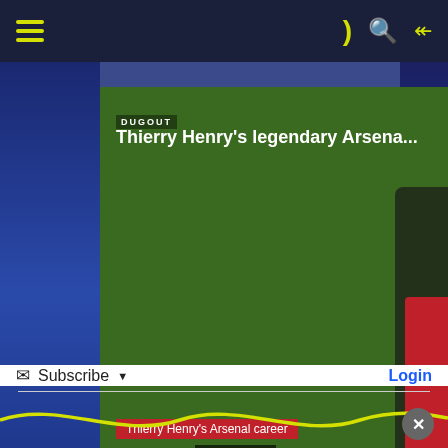Navigation bar with hamburger menu, dark/night toggle, search, and share icons
[Figure (screenshot): Video player showing Thierry Henry holding an Arsenal jersey with number 14. Video title: 'Thierry Henry's legendary Arsena...' with subtitle overlays 'Thierry Henry's Arsenal career is legendary'. DUGOUT branding visible. Play button in center.]
Lege...
Euro 2000: Remembering the iconic French side that conquered all before them
Subscribe  Login